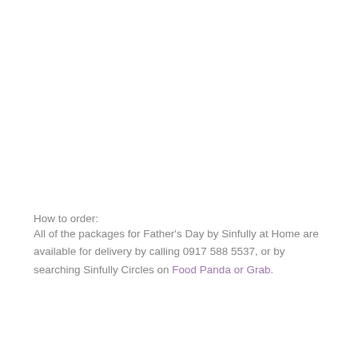How to order:
All of the packages for Father's Day by Sinfully at Home are available for delivery by calling 0917 588 5537, or by searching Sinfully Circles on Food Panda or Grab.